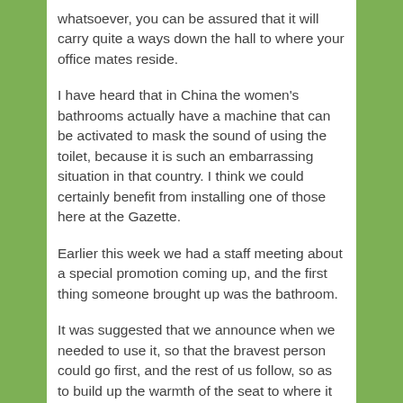whatsoever, you can be assured that it will carry quite a ways down the hall to where your office mates reside.
I have heard that in China the women's bathrooms actually have a machine that can be activated to mask the sound of using the toilet, because it is such an embarrassing situation in that country. I think we could certainly benefit from installing one of those here at the Gazette.
Earlier this week we had a staff meeting about a special promotion coming up, and the first thing someone brought up was the bathroom.
It was suggested that we announce when we needed to use it, so that the bravest person could go first, and the rest of us follow, so as to build up the warmth of the seat to where it is tolerable. Sort of a